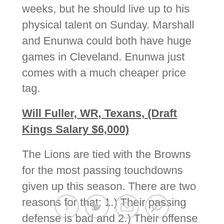weeks, but he should live up to his physical talent on Sunday. Marshall and Enunwa could both have huge games in Cleveland. Enunwa just comes with a much cheaper price tag.
Will Fuller, WR, Texans, (Draft Kings Salary $6,000)
The Lions are tied with the Browns for the most passing touchdowns given up this season. There are two reasons for that: 1.) Their passing defense is bad and 2.) Their offense is good enough to keep them in the game and force their opponents to keep throwing the ball.
Fuller is the definition of a deep threat. He can win or lose you a fantasy matchup in one or two plays. He is unfortunately saddled to an inconsistent quarterback, but Brock Osweiler still has a cannon. He can throw it
[Figure (other): Social sharing icons: Facebook, Twitter, Email, Link]